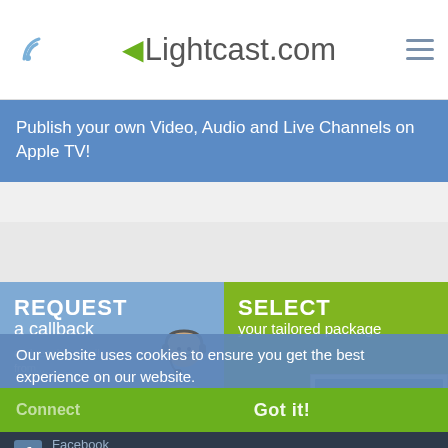Lightcast.com
Publish your own Video, Audio and Live Channels on Apple TV!
REQUEST a callback
and receive a call from...
SELECT your tailored package
Our website uses cookies to ensure you get the best experience on our website.
Read more
Got it!
Connect
Facebook
Become a fan